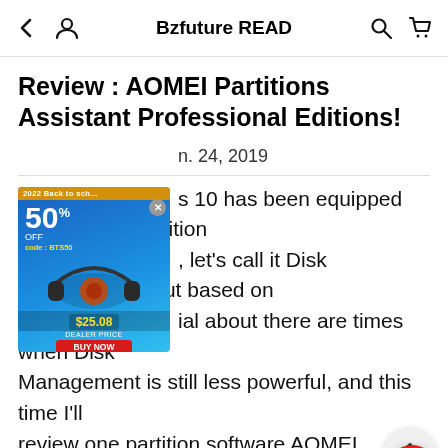Bzfuture READ
Review : AOMEI Partitions Assistant Professional Editions!
[Figure (illustration): Advertisement banner for headphones showing '50% OFF' deal, code BTS50, price $25.08, with a Buy Now button, overlaid on the article content]
n. 24, 2019
s 10 has been equipped with its own partition , let's call it Disk Management, but based on ial about there are times when Disk Management is still less powerful, and this time I'll review one partition software AOMEI Partitions Assistant Professional Editions.
Just like other Partition applications, almost all have the same function, for example Migrate OS from